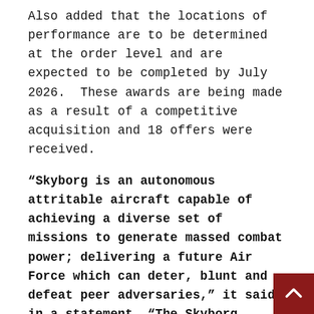Also added that the locations of performance are to be determined at the order level and are expected to be completed by July 2026.  These awards are being made as a result of a competitive acquisition and 18 offers were received.
“Skyborg is an autonomous attritable aircraft capable of achieving a diverse set of missions to generate massed combat power; delivering a future Air Force which can deter, blunt and defeat peer adversaries,” it said in a statement. “The Skyborg prototyping, experimentation and autonomy development contract will be used to deliver missionized prototypes in support of operational experimentation and develop the first Skyborg air platform with modular hardware and software payloads that will incorporate the